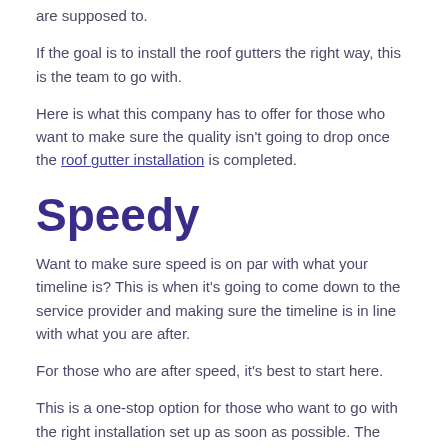are supposed to.
If the goal is to install the roof gutters the right way, this is the team to go with.
Here is what this company has to offer for those who want to make sure the quality isn't going to drop once the roof gutter installation is completed.
Speedy
Want to make sure speed is on par with what your timeline is? This is when it's going to come down to the service provider and making sure the timeline is in line with what you are after.
For those who are after speed, it's best to start here.
This is a one-stop option for those who want to go with the right installation set up as soon as possible. The results